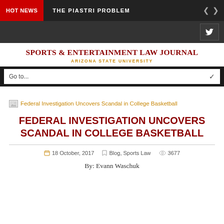HOT NEWS  THE PIASTRI PROBLEM
SPORTS & ENTERTAINMENT LAW JOURNAL
ARIZONA STATE UNIVERSITY
[Figure (other): Broken image placeholder for Federal Investigation Uncovers Scandal in College Basketball article thumbnail]
FEDERAL INVESTIGATION UNCOVERS SCANDAL IN COLLEGE BASKETBALL
18 October, 2017  Blog, Sports Law  3677
By: Evann Waschuk